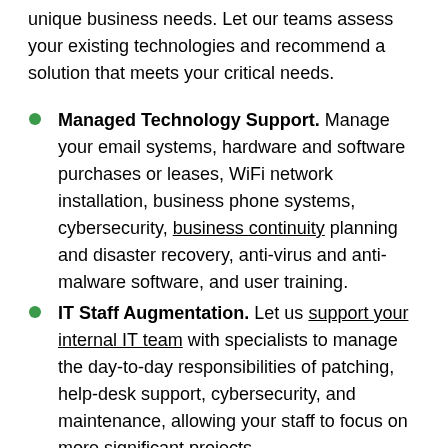unique business needs. Let our teams assess your existing technologies and recommend a solution that meets your critical needs.
Managed Technology Support. Manage your email systems, hardware and software purchases or leases, WiFi network installation, business phone systems, cybersecurity, business continuity planning and disaster recovery, anti-virus and anti-malware software, and user training.
IT Staff Augmentation. Let us support your internal IT team with specialists to manage the day-to-day responsibilities of patching, help-desk support, cybersecurity, and maintenance, allowing your staff to focus on more significant projects.